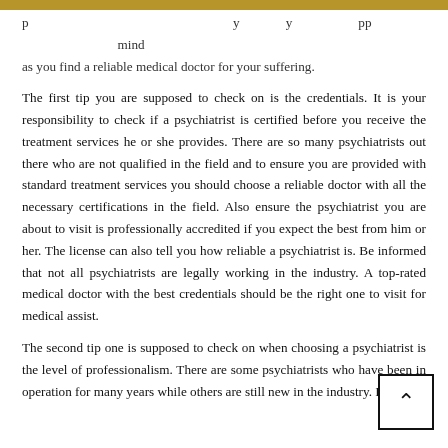p ... y ... pp ... mind as you find a reliable medical doctor for your suffering.
The first tip you are supposed to check on is the credentials. It is your responsibility to check if a psychiatrist is certified before you receive the treatment services he or she provides. There are so many psychiatrists out there who are not qualified in the field and to ensure you are provided with standard treatment services you should choose a reliable doctor with all the necessary certifications in the field. Also ensure the psychiatrist you are about to visit is professionally accredited if you expect the best from him or her. The license can also tell you how reliable a psychiatrist is. Be informed that not all psychiatrists are legally working in the industry. A top-rated medical doctor with the best credentials should be the right one to visit for medical assist.
The second tip one is supposed to check on when choosing a psychiatrist is the level of professionalism. There are some psychiatrists who have been in operation for many years while others are still new in the industry. It is